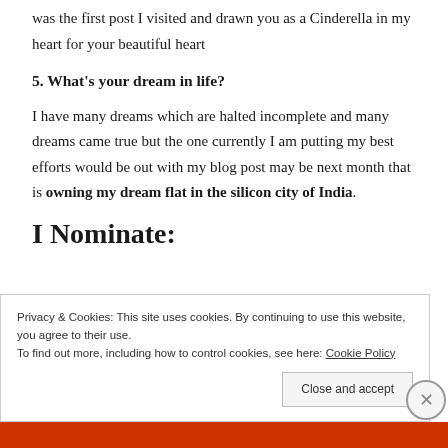was the first post I visited and drawn you as a Cinderella in my heart for your beautiful heart
5. What's your dream in life?
I have many dreams which are halted incomplete and many dreams came true but the one currently I am putting my best efforts would be out with my blog post may be next month that is owning my dream flat in the silicon city of India.
I Nominate:
Privacy & Cookies: This site uses cookies. By continuing to use this website, you agree to their use.
To find out more, including how to control cookies, see here: Cookie Policy